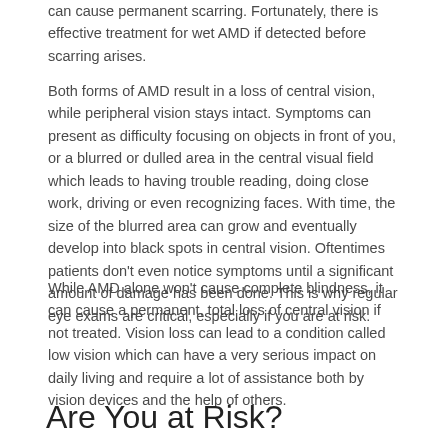can cause permanent scarring. Fortunately, there is effective treatment for wet AMD if detected before scarring arises.
Both forms of AMD result in a loss of central vision, while peripheral vision stays intact. Symptoms can present as difficulty focusing on objects in front of you, or a blurred or dulled area in the central visual field which leads to having trouble reading, doing close work, driving or even recognizing faces. With time, the size of the blurred area can grow and eventually develop into black spots in central vision. Oftentimes patients don't even notice symptoms until a significant amount of damage has been done. This is why regular eye exams are critical, especially if you are at risk.
While AMD alone won't cause complete blindness, it can cause a permanent, total loss of central vision if not treated. Vision loss can lead to a condition called low vision which can have a very serious impact on daily living and require a lot of assistance both by vision devices and the help of others.
Are You at Risk?